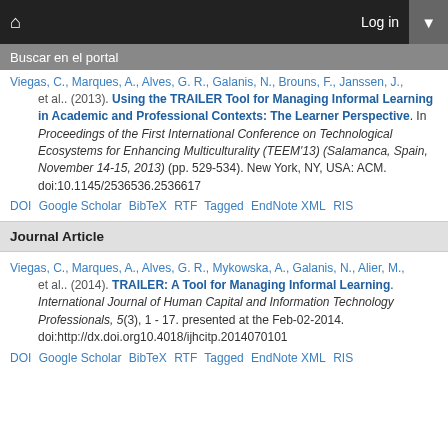Buscar en el portal
Viegas, C., Marques, A., Alves, G. R., Galanis, N., Brouns, F., Janssen, J., et al.. (2013). Using the TRAILER Tool for Managing Informal Learning in Academic and Professional Contexts: The Learner Perspective. In Proceedings of the First International Conference on Technological Ecosystems for Enhancing Multiculturality (TEEM'13) (Salamanca, Spain, November 14-15, 2013) (pp. 529-534). New York, NY, USA: ACM. doi:10.1145/2536536.2536617
DOI  Google Scholar  BibTeX  RTF  Tagged  EndNote XML  RIS
Journal Article
Viegas, C., Marques, A., Alves, G. R., Mykowska, A., Galanis, N., Alier, M., et al.. (2014). TRAILER: A Tool for Managing Informal Learning. International Journal of Human Capital and Information Technology Professionals, 5(3), 1 - 17. presented at the Feb-02-2014. doi:http://dx.doi.org10.4018/ijhcitp.2014070101
DOI  Google Scholar  BibTeX  RTF  Tagged  EndNote XML  RIS